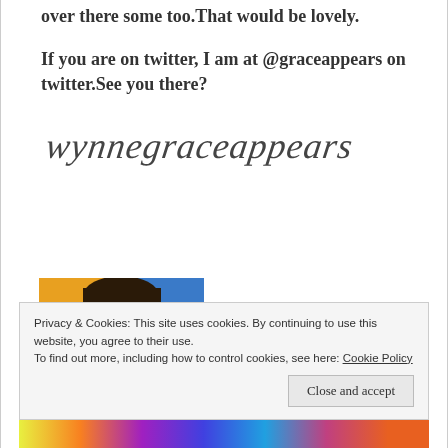over there some too.That would be lovely.
If you are on twitter, I am at @graceappears on twitter.See you there?
[Figure (illustration): Cursive/calligraphic signature text reading 'wynnegraceappears']
[Figure (photo): Photo of a young child with dark hair looking at camera, colorful background with yellow, orange, blue colors, text bar at bottom reading 'i'm following']
Privacy & Cookies: This site uses cookies. By continuing to use this website, you agree to their use.
To find out more, including how to control cookies, see here: Cookie Policy
Close and accept